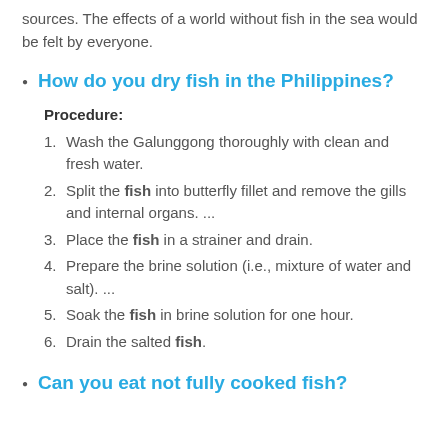sources. The effects of a world without fish in the sea would be felt by everyone.
How do you dry fish in the Philippines?
Procedure:
1. Wash the Galunggong thoroughly with clean and fresh water.
2. Split the fish into butterfly fillet and remove the gills and internal organs. ...
3. Place the fish in a strainer and drain.
4. Prepare the brine solution (i.e., mixture of water and salt). ...
5. Soak the fish in brine solution for one hour.
6. Drain the salted fish.
Can you eat not fully cooked fish?